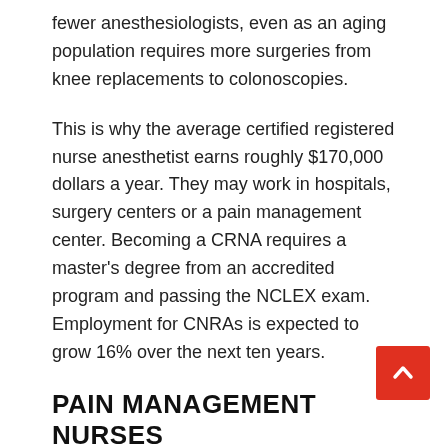fewer anesthesiologists, even as an aging population requires more surgeries from knee replacements to colonoscopies.
This is why the average certified registered nurse anesthetist earns roughly $170,000 dollars a year. They may work in hospitals, surgery centers or a pain management center. Becoming a CRNA requires a master's degree from an accredited program and passing the NCLEX exam. Employment for CNRAs is expected to grow 16% over the next ten years.
PAIN MANAGEMENT NURSES
Pain management nurses identify the cause of a patient's pain, assist in their care, dispense medication and educate patients about pain management. They may work in a hospice, palliative care or oncology wards in the hospital